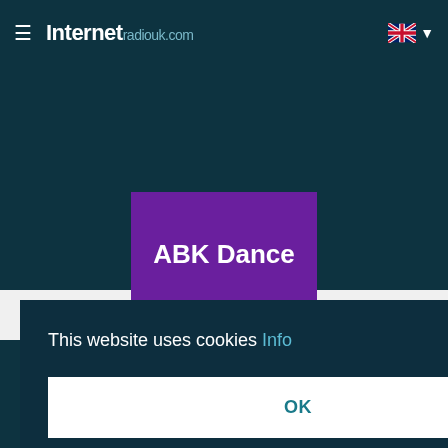Internet radiouk.com
FAVORITES
RECENTLY LISTENED
[Figure (logo): ABK Dance radio station logo — purple rectangle with white bold text 'ABK Dance']
ABK Dance
month, we
CHECK WEEKLY
This website uses cookies Info
OK